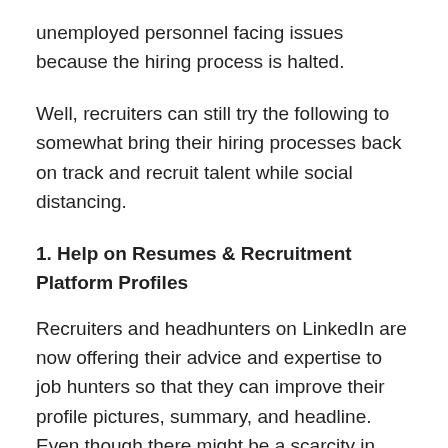unemployed personnel facing issues because the hiring process is halted.
Well, recruiters can still try the following to somewhat bring their hiring processes back on track and recruit talent while social distancing.
1. Help on Resumes & Recruitment Platform Profiles
Recruiters and headhunters on LinkedIn are now offering their advice and expertise to job hunters so that they can improve their profile pictures, summary, and headline. Even though there might be a scarcity in recruitment, job seekers can update their profiles and ensure that they don't miss out on a good job opportunity the next time because of outdated profiles.